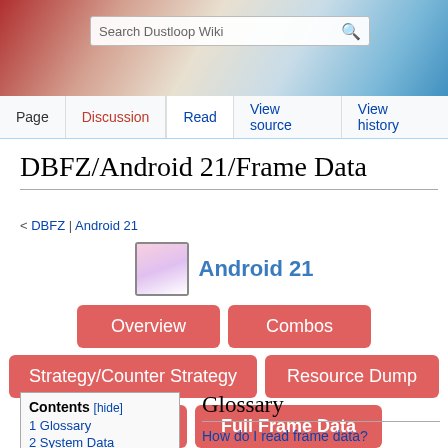[Figure (screenshot): Dustloop Wiki page header with search bar and colorful anime character background]
Page | Discussion | Read | View source | View history
DBFZ/Android 21/Frame Data
< DBFZ | Android 21
[Figure (illustration): Android 21 character navigation box with portrait image and navigation buttons: Overview, Combos, Strategy/Counter Strategy, Resource Dump, Discord, Full Frame Data]
Contents [hide]
1 Glossary
2 System Data
Glossary
How do I read frame data?